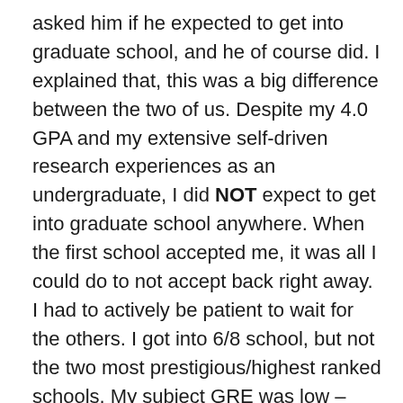asked him if he expected to get into graduate school, and he of course did. I explained that, this was a big difference between the two of us. Despite my 4.0 GPA and my extensive self-driven research experiences as an undergraduate, I did NOT expect to get into graduate school anywhere. When the first school accepted me, it was all I could do to not accept back right away. I had to actively be patient to wait for the others. I got into 6/8 school, but not the two most prestigious/highest ranked schools. My subject GRE was low – average for a woman from a liberal arts school – and many schools look at that exclusively (for a nice article on why that is a terrible idea if you want women and minorities in your programs, click here). I explained to the other graduate student that the purpose of the very tiny award was not to actually reward me, but was to say, "we want you, you're ok," when all